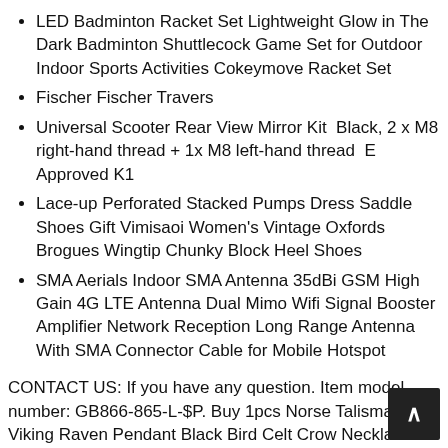LED Badminton Racket Set Lightweight Glow in The Dark Badminton Shuttlecock Game Set for Outdoor Indoor Sports Activities Cokeymove Racket Set
Fischer Fischer Travers
Universal Scooter Rear View Mirror Kit  Black, 2 x M8 right-hand thread + 1x M8 left-hand thread  E Approved K1
Lace-up Perforated Stacked Pumps Dress Saddle Shoes Gift Vimisaoi Women's Vintage Oxfords Brogues Wingtip Chunky Block Heel Shoes
SMA Aerials Indoor SMA Antenna 35dBi GSM High Gain 4G LTE Antenna Dual Mimo Wifi Signal Booster Amplifier Network Reception Long Range Antenna With SMA Connector Cable for Mobile Hotspot
CONTACT US: If you have any question. Item model number: GB866-865-L-$P. Buy 1pcs Norse Talisman Viking Raven Pendant Black Bird Celt Crow Necklace